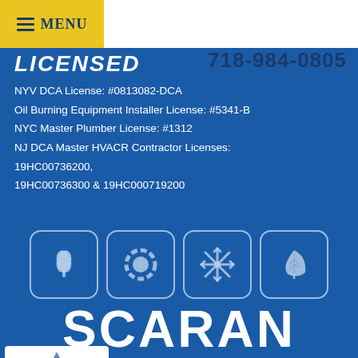Menu   718-984-0805
LICENSED
NYV DCA License: #0813082-DCA
Oil Burning Equipment Installer License: #5341-B
NYC Master Plumber License: #1312
NJ DCA Master HVACR Contractor Licenses:
19HC00736200,
19HC00736300 & 19HC000719200
[Figure (logo): Four rounded square icons showing stylized symbols: leaf/flower, gear/circle, snowflake, and leaf — service type icons for SCARAN HVAC company]
SCARAN
6767 Amboy Road, Staten Island, NY 10309
© 2017–2022 Scaran. All rights reserved.
FINANCING AVAILABLE